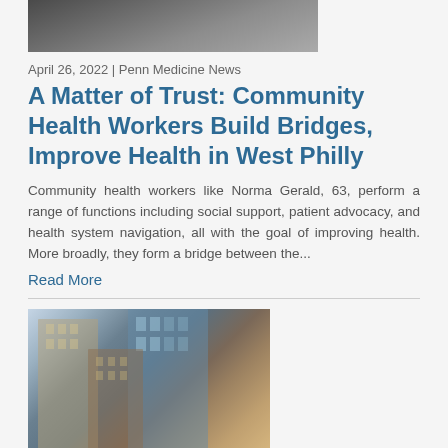[Figure (photo): Partial top view of a photo showing people, cropped at top of page]
April 26, 2022 | Penn Medicine News
A Matter of Trust: Community Health Workers Build Bridges, Improve Health in West Philly
Community health workers like Norma Gerald, 63, perform a range of functions including social support, patient advocacy, and health system navigation, all with the goal of improving health. More broadly, they form a bridge between the...
Read More
[Figure (photo): Low-angle photograph looking up at tall city skyscrapers against a blue sky]